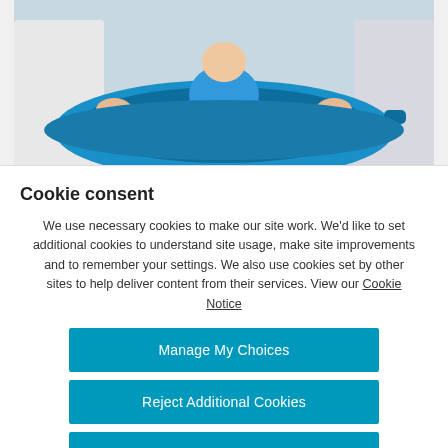[Figure (photo): Medical scene with healthcare professionals and a child using a blue inflatable flotation device/ring, photographed from above.]
Cookie consent
We use necessary cookies to make our site work. We'd like to set additional cookies to understand site usage, make site improvements and to remember your settings. We also use cookies set by other sites to help deliver content from their services. View our Cookie Notice
Manage My Choices
Reject Additional Cookies
Accept Additional Cookies